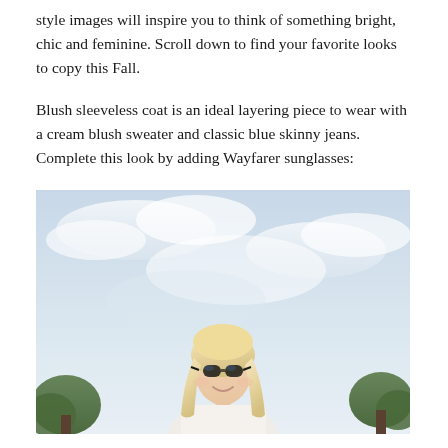style images will inspire you to think of something bright, chic and feminine. Scroll down to find your favorite looks to copy this Fall.
Blush sleeveless coat is an ideal layering piece to wear with a cream blush sweater and classic blue skinny jeans. Complete this look by adding Wayfarer sunglasses:
[Figure (photo): A blonde woman wearing sunglasses (Wayfarer style), smiling, photographed outdoors with a light blue sky and trees in the background. She appears to be wearing a light-colored outfit.]